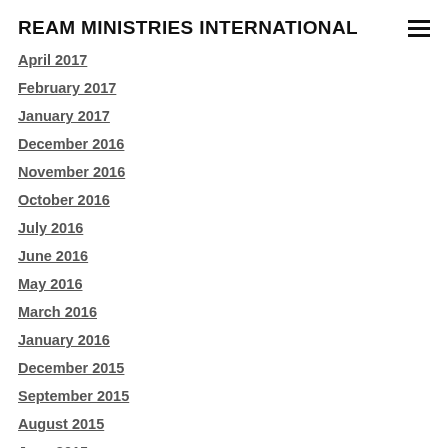REAM MINISTRIES INTERNATIONAL
April 2017
February 2017
January 2017
December 2016
November 2016
October 2016
July 2016
June 2016
May 2016
March 2016
January 2016
December 2015
September 2015
August 2015
June 2015
May 2015